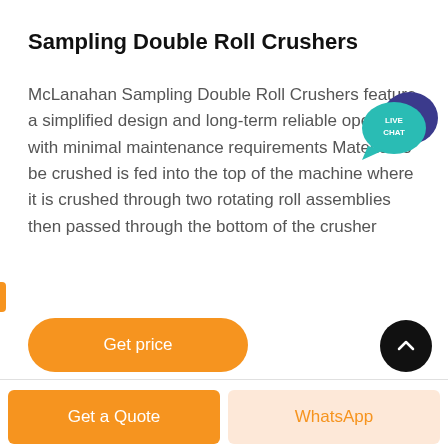Sampling Double Roll Crushers
McLanahan Sampling Double Roll Crushers feature a simplified design and long-term reliable operation with minimal maintenance requirements Material to be crushed is fed into the top of the machine where it is crushed through two rotating roll assemblies then passed through the bottom of the crusher
[Figure (illustration): Live Chat speech bubble icon in teal/dark blue colors with text LIVE CHAT]
[Figure (other): Orange rounded rectangle button with white text 'Get price']
[Figure (other): Black circular scroll-to-top button with white chevron arrow pointing up]
[Figure (other): Bottom navigation bar with orange 'Get a Quote' button and light orange 'WhatsApp' button]